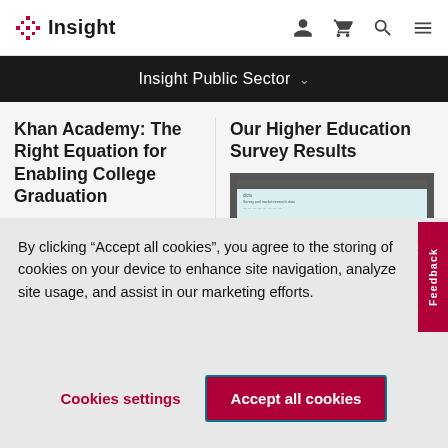Insight
Insight Public Sector
Khan Academy: The Right Equation for Enabling College Graduation
Our Higher Education Survey Results
[Figure (screenshot): Screenshot thumbnail of a Citrix-branded presentation slide]
[Figure (screenshot): Screenshot thumbnail of a Citrix-branded document with survey data]
By clicking “Accept all cookies”, you agree to the storing of cookies on your device to enhance site navigation, analyze site usage, and assist in our marketing efforts.
Cookies settings
Accept all cookies